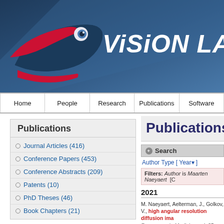[Figure (logo): Vision Lab logo with fish/eye icon and blue swoosh on dark blue gradient banner background]
VISION LAB
Home | People | Research | Publications | Software
Publications
Journal Articles (416)
Conference Papers (453)
Conference Abstracts (209)
Patents (10)
PhD Theses (46)
Book Chapters (21)
Publications
Search
Author Type [ Year▼ ]
Filters: Author is Maarten Naeyaert [C
2021
M. Naeyaert, Aelterman, J., Golkov, V., ... high angular resolution diffusion ima... Resonance in Medicine, vol. 85, no. 3, p...
M. Naeyaert, Golkov, V., Cremers, D., S...